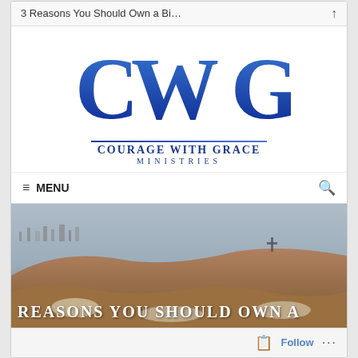3 Reasons You Should Own a Bi…
[Figure (logo): CWG — Courage With Grace Ministries logo. Large blue stylized letters C, W, G with 'COURAGE WITH GRACE MINISTRIES' text below.]
≡ MENU
[Figure (photo): Aerial landscape photo of a Middle Eastern city (Jerusalem) with rolling hills, buildings, and a pale sky in the background. Overlaid white bold text reads 'REASONS YOU SHOULD OWN A']
Follow …